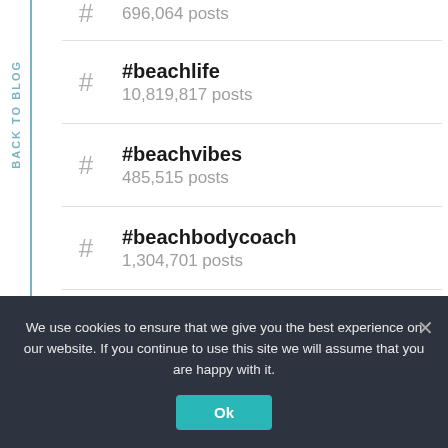696,064 posts
#beachlife
10,819,817 posts
#beachvibes
485,515 posts
#beachbodycoach
1,304,701 posts
#beachhouse
BACK TO BLOG
We use cookies to ensure that we give you the best experience on our website. If you continue to use this site we will assume that you are happy with it.